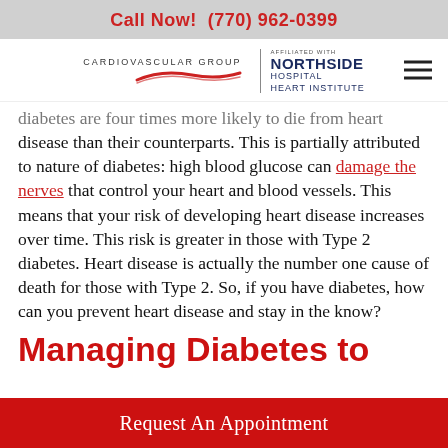Call Now! (770) 962-0399
[Figure (logo): CardioVascular Group logo with red swoosh, affiliated with Northside Hospital Heart Institute]
diabetes are four times more likely to die from heart disease than their counterparts. This is partially attributed to nature of diabetes: high blood glucose can damage the nerves that control your heart and blood vessels. This means that your risk of developing heart disease increases over time. This risk is greater in those with Type 2 diabetes. Heart disease is actually the number one cause of death for those with Type 2. So, if you have diabetes, how can you prevent heart disease and stay in the know?
Managing Diabetes to
Request An Appointment